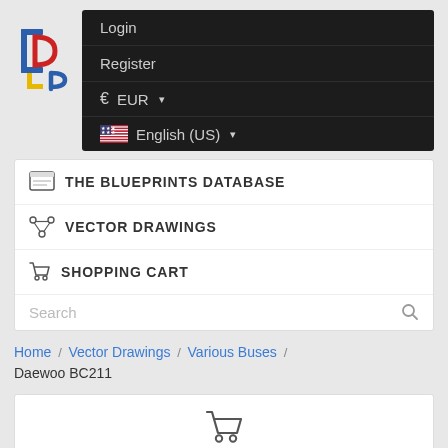[Figure (logo): Blueprints Database logo — stylized 'BP' letters in blue, red, yellow, blue on white background]
[Figure (screenshot): Dark navigation menu with Login, Register, EUR currency selector, English (US) language selector]
[Figure (screenshot): White navigation card with THE BLUEPRINTS DATABASE, VECTOR DRAWINGS, SHOPPING CART menu items and Search bar]
Home / Vector Drawings / Various Buses / Daewoo BC211
[Figure (screenshot): Shopping Cart card with cart icon, 'Shopping Cart' heading in blue, '0 drawing(s)' text]
[Figure (logo): PayPal and credit card payment icons at bottom]